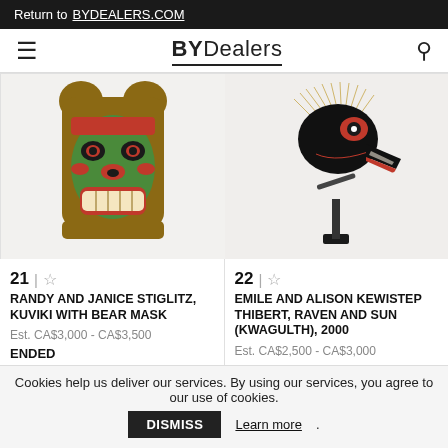Return to BYDEALERS.COM
BYDealers
[Figure (photo): Lot 21: Indigenous Northwest Coast carved and painted bear mask (Kuviki) with fur/raffia trim, green and red face paint, displayed against white background]
21 | ☆
RANDY AND JANICE STIGLITZ, KUVIKI WITH BEAR MASK
Est. CA$3,000 - CA$3,500
ENDED
[Figure (photo): Lot 22: Indigenous Northwest Coast Kwagulth carved raven and sun mask in black, red, and white with raffia/hair fringe, mounted on stand on white pedestal, displayed against white background]
22 | ☆
EMILE AND ALISON KEWISTEP THIBERT, RAVEN AND SUN (KWAGULTH), 2000
Est. CA$2,500 - CA$3,000
Cookies help us deliver our services. By using our services, you agree to our use of cookies. DISMISS Learn more.